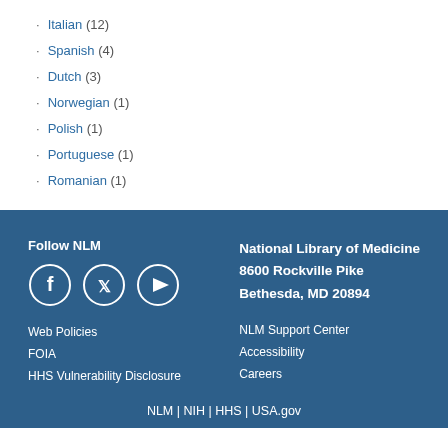Italian (12)
Spanish (4)
Dutch (3)
Norwegian (1)
Polish (1)
Portuguese (1)
Romanian (1)
Follow NLM
Web Policies
FOIA
HHS Vulnerability Disclosure
National Library of Medicine
8600 Rockville Pike
Bethesda, MD 20894
NLM Support Center
Accessibility
Careers
NLM | NIH | HHS | USA.gov